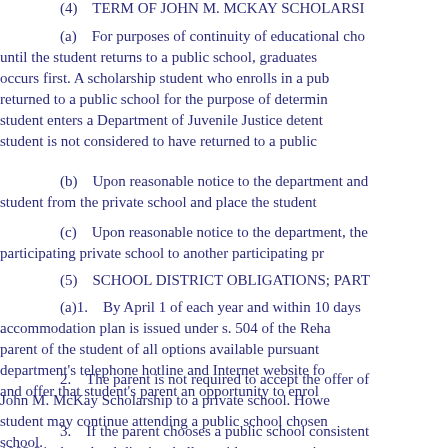(4)    TERM OF JOHN M. MCKAY SCHOLARS...
(a)    For purposes of continuity of educational ch... until the student returns to a public school, graduates... occurs first. A scholarship student who enrolls in a pu... returned to a public school for the purpose of determi... student enters a Department of Juvenile Justice deten... student is not considered to have returned to a public...
(b)    Upon reasonable notice to the department an... student from the private school and place the student...
(c)    Upon reasonable notice to the department, th... participating private school to another participating p...
(5)    SCHOOL DISTRICT OBLIGATIONS; PAR...
(a)1.    By April 1 of each year and within 10 days... accommodation plan is issued under s. 504 of the Reh... parent of the student of all options available pursuant... department's telephone hotline and Internet website f... and offer that student's parent an opportunity to enrol...
2.    The parent is not required to accept the offer o... John M. McKay Scholarship to a private school. How... student may continue attending a public school chose... school.
3.    If the parent chooses a public school consisten... 1002.31, the school district shall provide transportati...